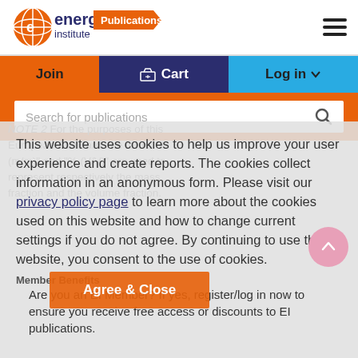[Figure (logo): Energy Institute Publications logo with orange globe icon and 'Publications' orange badge]
Join | Cart | Log in
Search for publications
NOTE 2 For the purposes of this European Standard, the terms "%  (m/m)" and "% (V/V)" are used to represent respectively the mass fraction and the volume fraction.
This website uses cookies to help us improve your user experience and create reports. The cookies collect information in an anonymous form. Please visit our privacy policy page to learn more about the cookies used on this website and how to change current settings if you do not agree. By continuing to use this website, you consent to the use of cookies.
Member Benefits
Are you an EI Member? If yes, register/log in now to ensure you receive free access or discounts to EI publications.
Agree & Close